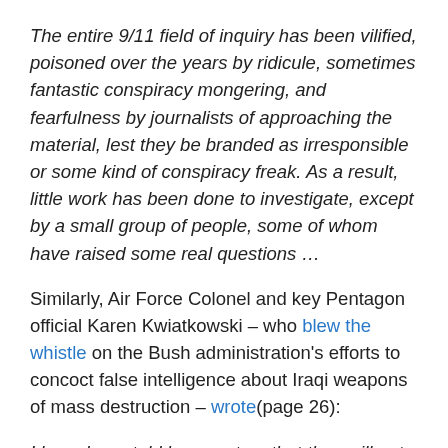The entire 9/11 field of inquiry has been vilified, poisoned over the years by ridicule, sometimes fantastic conspiracy mongering, and fearfulness by journalists of approaching the material, lest they be branded as irresponsible or some kind of conspiracy freak. As a result, little work has been done to investigate, except by a small group of people, some of whom have raised some real questions …
Similarly, Air Force Colonel and key Pentagon official Karen Kwiatkowski – who blew the whistle on the Bush administration's efforts to concoct false intelligence about Iraqi weapons of mass destruction – wrote(page 26):
I have been told by reporters that they will not report their own insights or contrary evaluations of the official 9/11 story, because to question the government story about